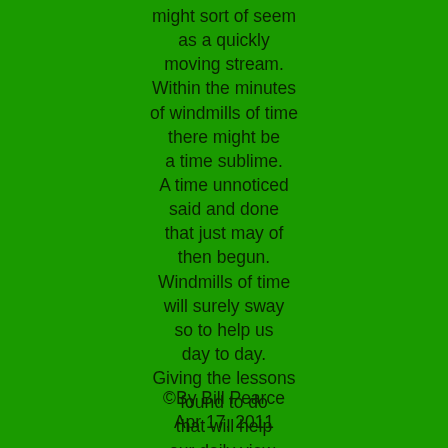might sort of seem
as a quickly
moving stream.
Within the minutes
of windmills of time
there might be
a time sublime.
A time unnoticed
said and done
that just may of
then begun.
Windmills of time
will surely sway
so to help us
day to day.
Giving the lessons
found to do
that will help
our daily view.
©By Bill Pearce
Apr 17, 2011